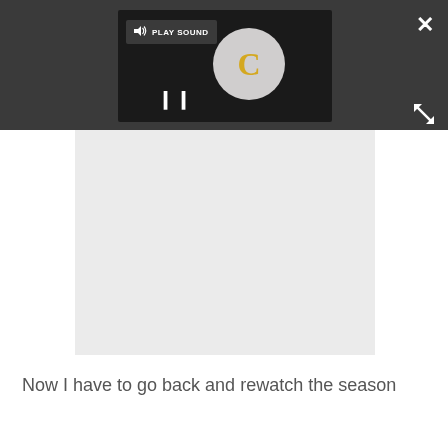[Figure (screenshot): Dark gray top bar UI overlay showing a video player with a loading spinner (gold C letter on gray circle), a PLAY SOUND button with speaker icon, a pause button (two vertical bars), a close button (X) in the top right, and an expand/fullscreen button in the lower right of the bar.]
[Figure (screenshot): Light gray rectangular media/video area below the top bar, appearing as a blank placeholder for embedded video content.]
Now I have to go back and rewatch the season